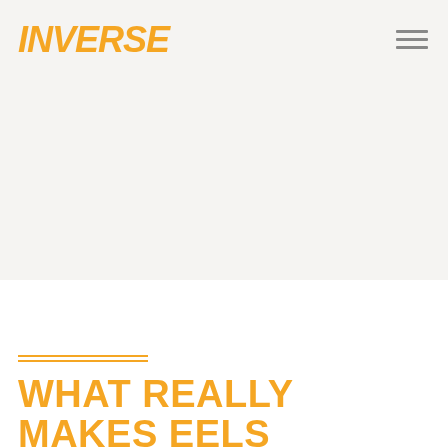[Figure (logo): Inverse magazine logo in bold italic orange uppercase text]
WHAT REALLY MAKES EELS ELECTRIFYING?